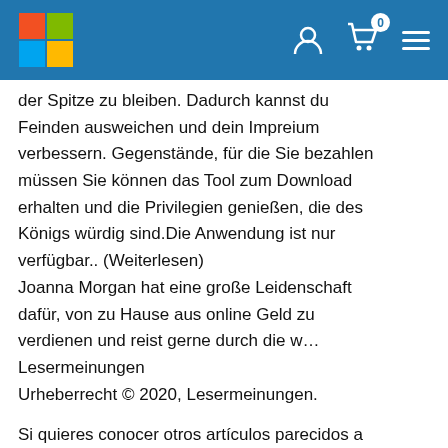Microsoft navigation bar with logo, user icon, cart (0), and hamburger menu
der Spitze zu bleiben. Dadurch kannst du Feinden ausweichen und dein Impreium verbessern. Gegenstände, für die Sie bezahlen müssen Sie können das Tool zum Download erhalten und die Privilegien genießen, die des Königs würdig sind.Die Anwendung ist nur verfügbar.. (Weiterlesen)
Joanna Morgan hat eine große Leidenschaft dafür, von zu Hause aus online Geld zu verdienen und reist gerne durch die w...
Lesermeinungen
Urheberrecht © 2020, Lesermeinungen.
Si quieres conocer otros artículos parecidos a
Kostenlose Web-Ressourcen-Artikel von